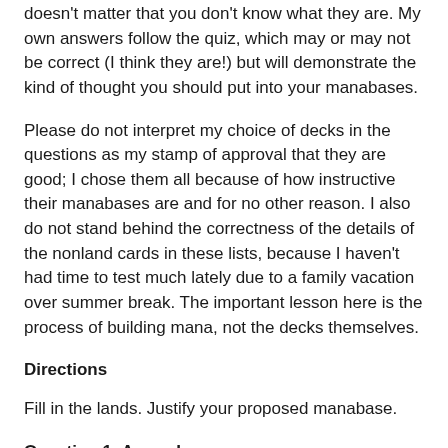doesn't matter that you don't know what they are. My own answers follow the quiz, which may or may not be correct (I think they are!) but will demonstrate the kind of thought you should put into your manabases.
Please do not interpret my choice of decks in the questions as my stamp of approval that they are good; I chose them all because of how instructive their manabases are and for no other reason. I also do not stand behind the correctness of the details of the nonland cards in these lists, because I haven't had time to test much lately due to a family vacation over summer break. The important lesson here is the process of building mana, not the decks themselves.
Directions
Fill in the lands. Justify your proposed manabase.
Question 1: Aggro Loam